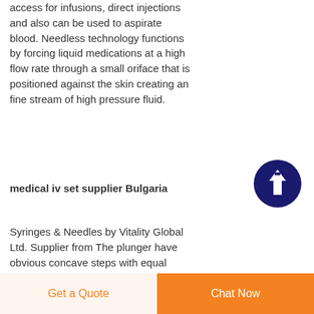access for infusions, direct injections and also can be used to aspirate blood. Needless technology functions by forcing liquid medications at a high flow rate through a small oriface that is positioned against the skin creating an fine stream of high pressure fluid.
[Figure (other): Dark navy blue circular button with an upward arrow icon (scroll to top button)]
medical iv set supplier Bulgaria
Syringes & Needles by Vitality Global Ltd. Supplier from The plunger have obvious concave steps with equal visible distance in the same plane
Get a Quote  Chat Now